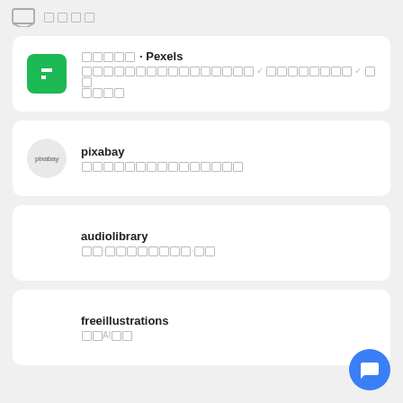[icon] [squares]
□□□□□ · Pexels
□□□□□□□□□□□□□□□□ ✓ □□□□□□□□ ✓ □□□□□
pixabay
□□□□□□□□□□□□□□□
audiolibrary
□□·□□□□□□□□·□□
freeillustrations
□□AI□□